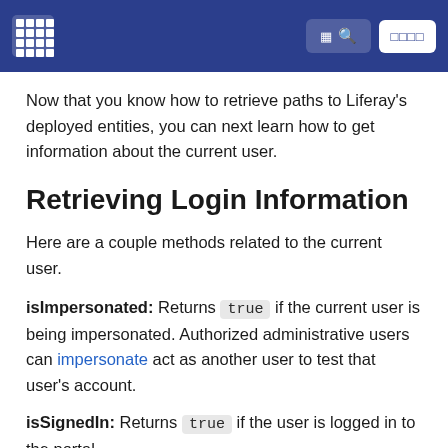Liferay documentation site header with logo, search button, and sign-in button
Now that you know how to retrieve paths to Liferay's deployed entities, you can next learn how to get information about the current user.
Retrieving Login Information
Here are a couple methods related to the current user.
isImpersonated: Returns true if the current user is being impersonated. Authorized administrative users can impersonate act as another user to test that user's account.
isSignedIn: Returns true if the user is logged in to the portal.
Below is JavaScript code that demonstrates using